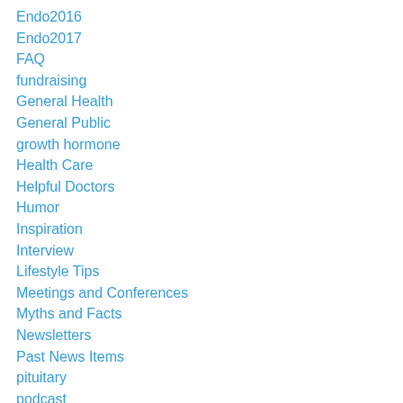Endo2016
Endo2017
FAQ
fundraising
General Health
General Public
growth hormone
Health Care
Helpful Doctors
Humor
Inspiration
Interview
Lifestyle Tips
Meetings and Conferences
Myths and Facts
Newsletters
Past News Items
pituitary
podcast
Rare Diseases